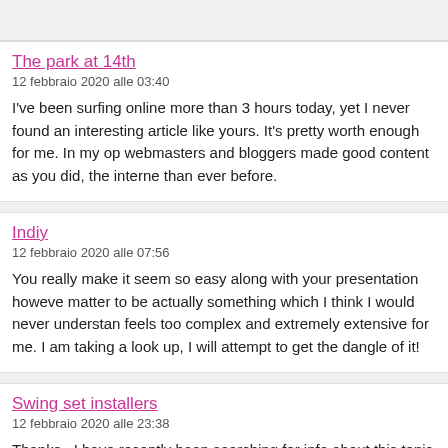The park at 14th
12 febbraio 2020 alle 03:40
I've been surfing online more than 3 hours today, yet I never found an interesting article like yours. It's pretty worth enough for me. In my op webmasters and bloggers made good content as you did, the interne than ever before.
Indiy
12 febbraio 2020 alle 07:56
You really make it seem so easy along with your presentation howeve matter to be actually something which I think I would never understan feels too complex and extremely extensive for me. I am taking a look up, I will attempt to get the dangle of it!
Swing set installers
12 febbraio 2020 alle 23:38
Thanks , I have recently been searching for info about this topic for a yours is the best I've discovered so far. But, what about the conclusi